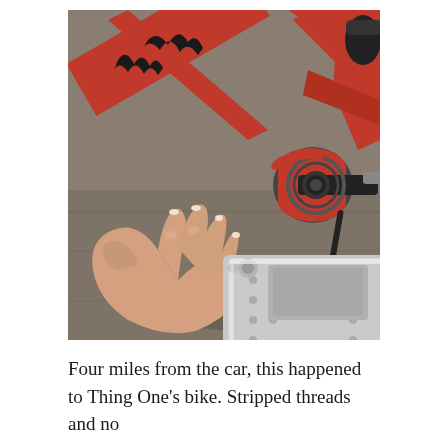[Figure (photo): A hand holding a silver/aluminum bicycle pedal with its spindle removed. In the background is a red and black mountain bike frame resting on pavement, showing the crank arm area where the pedal has detached. The bottom bracket and crank are visible. The photo has a slightly warm, outdoor sunlit tone.]
Four miles from the car, this happened to Thing One's bike. Stripped threads and no